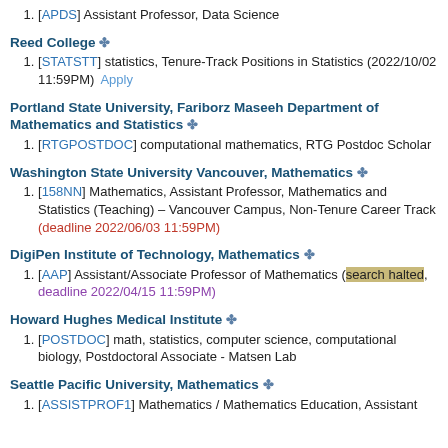[APDS] Assistant Professor, Data Science
Reed College ❄
[STATSTT] statistics, Tenure-Track Positions in Statistics (2022/10/02 11:59PM)  Apply
Portland State University, Fariborz Maseeh Department of Mathematics and Statistics ❄
[RTGPOSTDOC] computational mathematics, RTG Postdoc Scholar
Washington State University Vancouver, Mathematics ❄
[158NN] Mathematics, Assistant Professor, Mathematics and Statistics (Teaching) – Vancouver Campus, Non-Tenure Career Track (deadline 2022/06/03 11:59PM)
DigiPen Institute of Technology, Mathematics ❄
[AAP] Assistant/Associate Professor of Mathematics (search halted, deadline 2022/04/15 11:59PM)
Howard Hughes Medical Institute ❄
[POSTDOC] math, statistics, computer science, computational biology, Postdoctoral Associate - Matsen Lab
Seattle Pacific University, Mathematics ❄
[ASSISTPROF1] Mathematics / Mathematics Education, Assistant